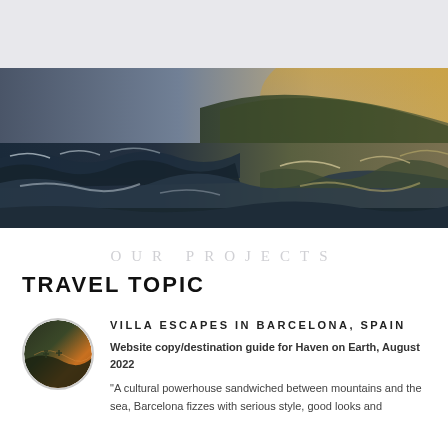[Figure (photo): Panoramic ocean photo showing rough waves crashing with a coastal hillside in the background, dramatic lighting with golden sunset on right side and dark storm clouds on left]
OUR PROJECTS
TRAVEL TOPIC
[Figure (photo): Small circular thumbnail image showing an aerial or landscape view, appears to show a coastal or hillside scene with warm tones]
VILLA ESCAPES IN BARCELONA, SPAIN
Website copy/destination guide for Haven on Earth, August 2022
"A cultural powerhouse sandwiched between mountains and the sea, Barcelona fizzes with serious style, good looks and